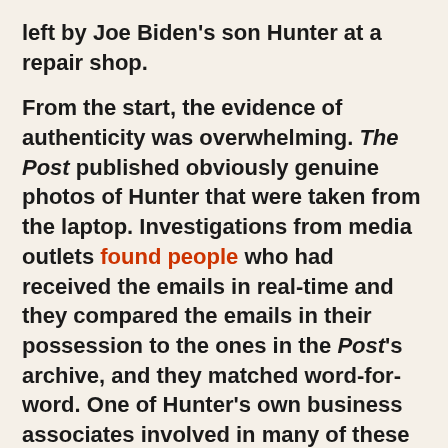left by Joe Biden's son Hunter at a repair shop.

From the start, the evidence of authenticity was overwhelming. The Post published obviously genuine photos of Hunter that were taken from the laptop. Investigations from media outlets found people who had received the emails in real-time and they compared the emails in their possession to the ones in the Post's archive, and they matched word-for-word. One of Hunter's own business associates involved in many of these deals, Tony Bobulinski, confirmed publicly and in interviews that the key emails were genuine and that they referenced Joe Biden's profit participation in one deal being pursued in China. A forensics analyst issued a report concluding the archive had all the earmarks of authenticity. Not even the Bidens denied that the emails were real: something they of course would have done if they had been